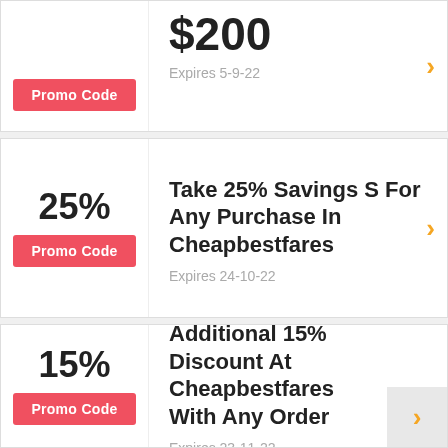$200
Expires 5-9-22
Promo Code
Take 25% Savings S For Any Purchase In Cheapbestfares
Expires 24-10-22
25%
Promo Code
Additional 15% Discount At Cheapbestfares With Any Order
Expires 23-11-22
15%
Promo Code